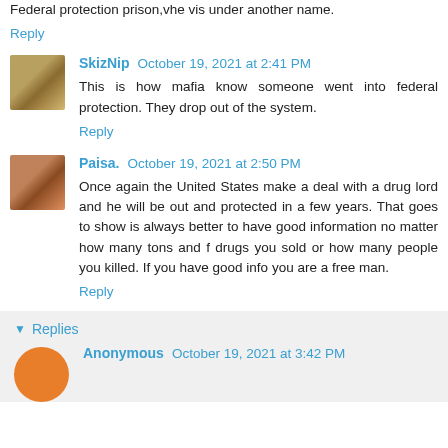Federal protection prison,vhe vis under another name.
Reply
SkizNip  October 19, 2021 at 2:41 PM
This is how mafia know someone went into federal protection. They drop out of the system.
Reply
Paisa.  October 19, 2021 at 2:50 PM
Once again the United States make a deal with a drug lord and he will be out and protected in a few years. That goes to show is always better to have good information no matter how many tons and f drugs you sold or how many people you killed. If you have good info you are a free man.
Reply
Replies
Anonymous  October 19, 2021 at 3:42 PM